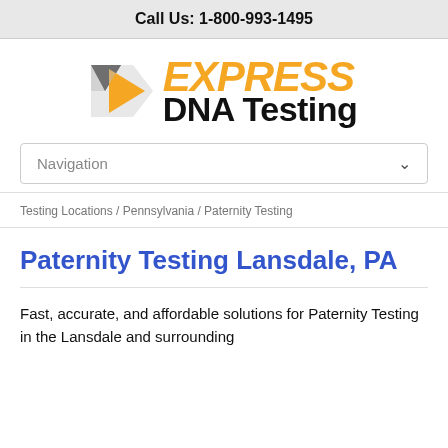Call Us: 1-800-993-1495
[Figure (logo): Express DNA Testing logo with orange arrow icon, orange italic EXPRESS text and black DNA Testing text]
Navigation
Testing Locations / Pennsylvania / Paternity Testing
Paternity Testing Lansdale, PA
Fast, accurate, and affordable solutions for Paternity Testing in the Lansdale and surrounding